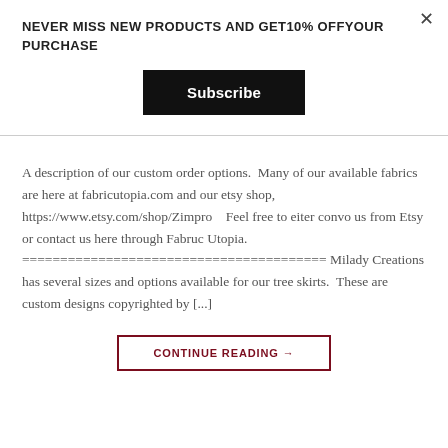NEVER MISS NEW PRODUCTS AND GET10% OFFYOUR PURCHASE
Subscribe
A description of our custom order options.  Many of our available fabrics are here at fabricutopia.com and our etsy shop, https://www.etsy.com/shop/Zimpro    Feel free to eiter convo us from Etsy or contact us here through Fabruc Utopia. ======================================== Milady Creations has several sizes and options available for our tree skirts.  These are custom designs copyrighted by [...]
CONTINUE READING →